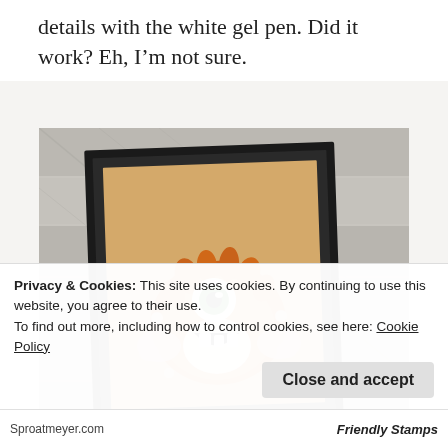details with the white gel pen. Did it work? Eh, I'm not sure.
[Figure (photo): A framed art card showing a fluffy orange cartoon monster with one large green eye, big teeth, and pink paw-like appendages, displayed on a wooden plank background.]
Privacy & Cookies: This site uses cookies. By continuing to use this website, you agree to their use.
To find out more, including how to control cookies, see here: Cookie Policy
Close and accept
Sproatmeyer.com    Friendly Stamps